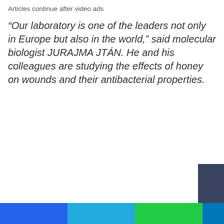Articles continue after video ads
“Our laboratory is one of the leaders not only in Europe but also in the world,” said molecular biologist JURAJMA JTÁN. He and his colleagues are studying the effects of honey on wounds and their antibacterial properties.